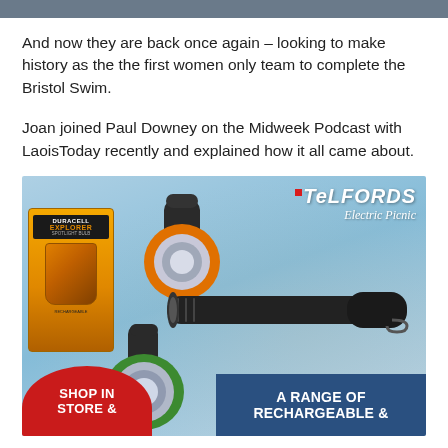And now they are back once again – looking to make history as the the first women only team to complete the Bristol Swim.
Joan joined Paul Downey on the Midweek Podcast with LaoisToday recently and explained how it all came about.
[Figure (photo): Advertisement for Telfords Electric Picnic featuring Duracell Explorer torches and flashlights. Shows orange spotlight flashlight, black tactical torch, and green spotlight flashlight alongside a Duracell Explorer product box. Bottom left has red oval with 'SHOP IN STORE &' text and bottom right has blue banner with 'A RANGE OF RECHARGEABLE &' text.]